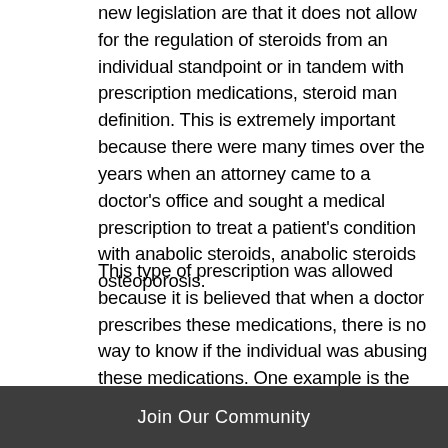new legislation are that it does not allow for the regulation of steroids from an individual standpoint or in tandem with prescription medications, steroid man definition. This is extremely important because there were many times over the years when an attorney came to a doctor's office and sought a medical prescription to treat a patient's condition with anabolic steroids, anabolic steroids osteoporosis.
This type of prescription was allowed because it is believed that when a doctor prescribes these medications, there is no way to know if the individual was abusing these medications. One example is the case of a woman who was on PEDs for years and was prescribed anabolic steroids to treat her endometriosis.
Join Our Community